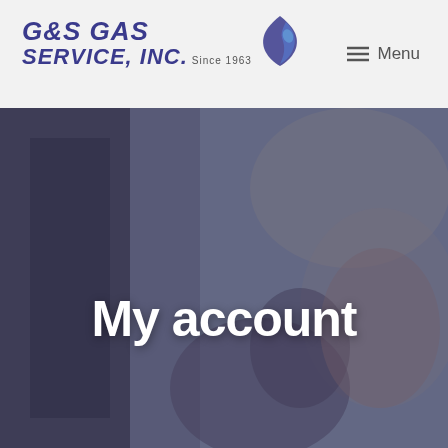[Figure (logo): G&S Gas Service, Inc. logo with blue italic text and a blue flame/leaf icon, 'Since 1963' tagline]
≡ Menu
[Figure (photo): Hero banner background photo of blurred people in a room, overlaid with semi-transparent dark purple tint]
My account